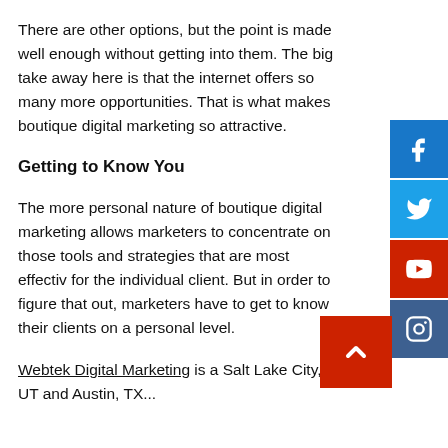There are other options, but the point is made well enough without getting into them. The big take away here is that the internet offers so many more opportunities. That is what makes boutique digital marketing so attractive.
Getting to Know You
The more personal nature of boutique digital marketing allows marketers to concentrate on those tools and strategies that are most effective for the individual client. But in order to figure that out, marketers have to get to know their clients on a personal level.
Webtek Digital Marketing is a Salt Lake City, UT and Austin, TX...